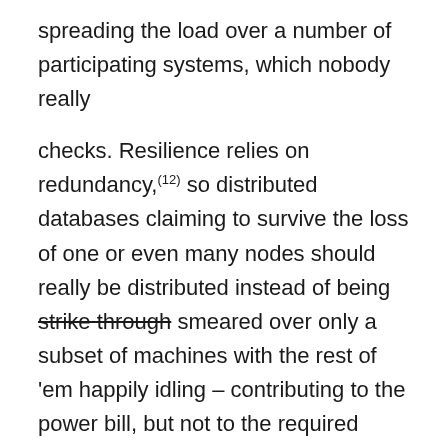spreading the load over a number of participating systems, which nobody really
checks. Resilience relies on redundancy,(12) so distributed databases claiming to survive the loss of one or even many nodes should really be distributed instead of being strike through smeared over only a subset of machines with the rest of 'em happily idling – contributing to the power bill, but not to the required failover properties of the system.
Often, applications write journals of logs
Logs are often of a technical nature, sometimes even purely so, but sometimes, they already have or later gain a business relevance up to being part of a mediation system. Then, their retention and deletion